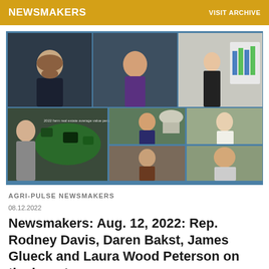NEWSMAKERS   VISIT ARCHIVE
[Figure (photo): Collage of video conference participants and presenters for Agri-Pulse Newsmakers broadcast, including people presenting farm land data maps and charts]
AGRI-PULSE NEWSMAKERS
08.12.2022
Newsmakers: Aug. 12, 2022: Rep. Rodney Davis, Daren Bakst, James Glueck and Laura Wood Peterson on the long-term